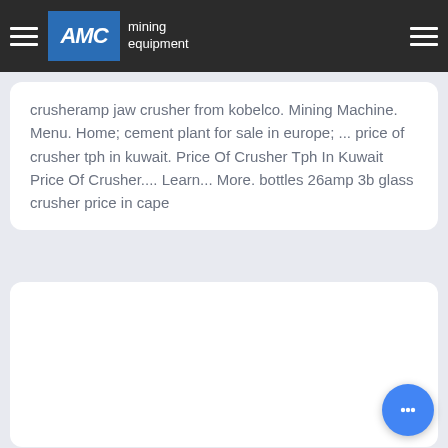AMC mining equipment
crusheramp jaw crusher from kobelco. Mining Machine. Menu. Home; cement plant for sale in europe; ... price of crusher tph in kuwait. Price Of Crusher Tph In Kuwait Price Of Crusher.... Learn... More. bottles 26amp 3b glass crusher price in cape
[Figure (other): Empty white card / content placeholder area]